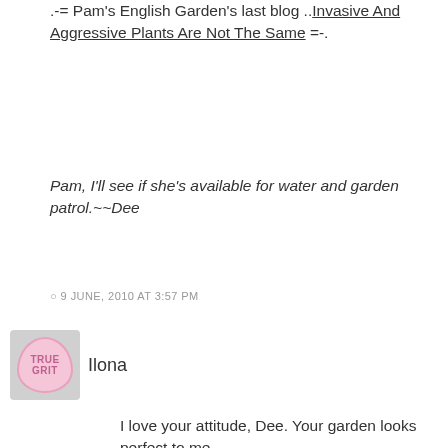.-= Pam’s English Garden’s last blog ..Invasive And Aggressive Plants Are Not The Same =-.
Pam, I’ll see if she’s available for water and garden patrol.~~Dee
○ 9 JUNE, 2010 AT 3:57 PM
Ilona
I love your attitude, Dee. Your garden looks perfect to me.
.-= Ilona´s last blog ..Ten Best Articles On Pruning =-.
Thanks Ilona. I’m grateful to be back.~~Dee